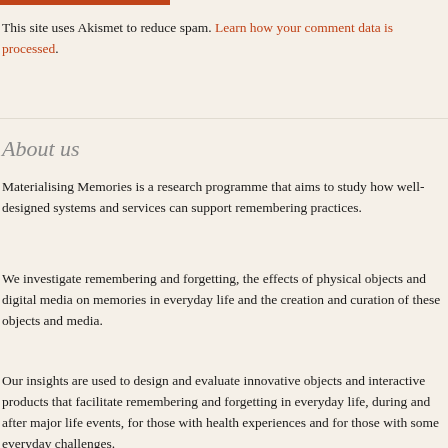This site uses Akismet to reduce spam. Learn how your comment data is processed.
About us
Materialising Memories is a research programme that aims to study how well-designed systems and services can support remembering practices.
We investigate remembering and forgetting, the effects of physical objects and digital media on memories in everyday life and the creation and curation of these objects and media.
Our insights are used to design and evaluate innovative objects and interactive products that facilitate remembering and forgetting in everyday life, during and after major life events, for those with health experiences and for those with some everyday challenges.